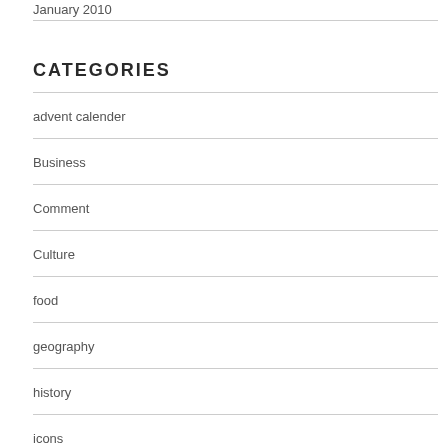January 2010
CATEGORIES
advent calender
Business
Comment
Culture
food
geography
history
icons
idioms